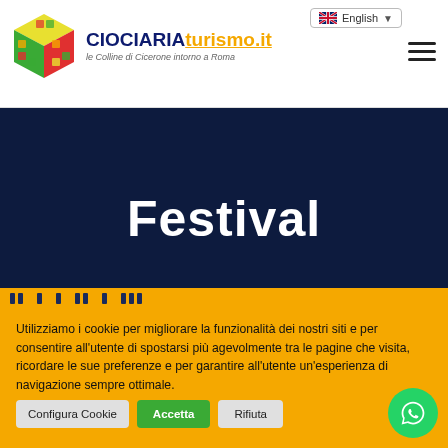CIOCIARIAturismo.it - le Colline di Cicerone intorno a Roma | English language selector | Hamburger menu
Festival
Utilizziamo i cookie per migliorare la funzionalità dei nostri siti e per consentire all'utente di spostarsi più agevolmente tra le pagine che visita, ricordare le sue preferenze e per garantire all'utente un'esperienza di navigazione sempre ottimale.
Configura Cookie | Accetta | Rifiuta